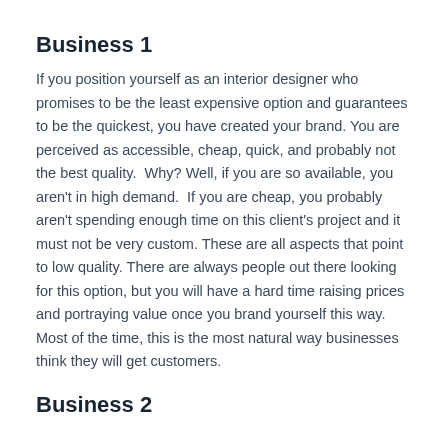Business 1
If you position yourself as an interior designer who promises to be the least expensive option and guarantees to be the quickest, you have created your brand. You are perceived as accessible, cheap, quick, and probably not the best quality.  Why? Well, if you are so available, you aren't in high demand.  If you are cheap, you probably aren't spending enough time on this client's project and it must not be very custom. These are all aspects that point to low quality. There are always people out there looking for this option, but you will have a hard time raising prices and portraying value once you brand yourself this way. Most of the time, this is the most natural way businesses think they will get customers.
Business 2